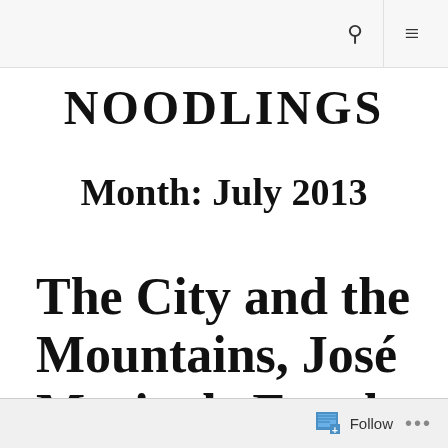🔍 ≡
NOODLINGS
Month: July 2013
The City and the Mountains, José Maria de Eça de Queirós. Rou…
Follow ...